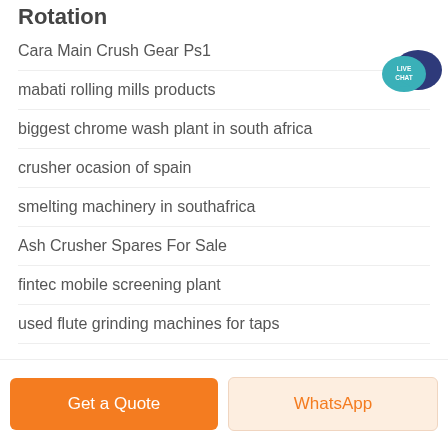Rotation
Cara Main Crush Gear Ps1
mabati rolling mills products
biggest chrome wash plant in south africa
crusher ocasion of spain
smelting machinery in southafrica
Ash Crusher Spares For Sale
fintec mobile screening plant
used flute grinding machines for taps
[Figure (illustration): Live Chat speech bubble icon with teal and dark blue colors, labeled LIVE CHAT]
Get a Quote
WhatsApp